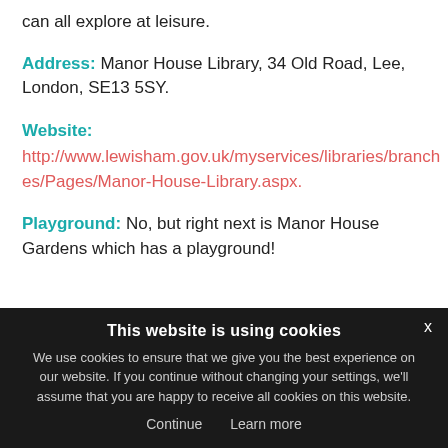can all explore at leisure.
Address: Manor House Library, 34 Old Road, Lee, London, SE13 5SY.
Website: http://www.lewisham.gov.uk/myservices/libraries/branches/Pages/Manor-House-Library.aspx.
Playground: No, but right next is Manor House Gardens which has a playground!
This website is using cookies
We use cookies to ensure that we give you the best experience on our website. If you continue without changing your settings, we'll assume that you are happy to receive all cookies on this website.
Continue   Learn more